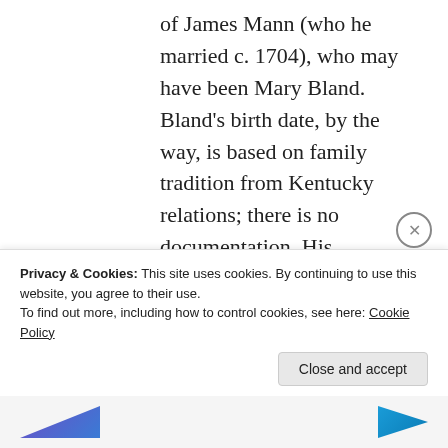of James Mann (who he married c. 1704), who may have been Mary Bland. Bland's birth date, by the way, is based on family tradition from Kentucky relations; there is no documentation. His Spotsylvania land patent was in 1734, so he could have been born as late as 1713 for him to be at least 21 years old that year. Anyway, the place and time are right, and there are other bits of information that support the case (much like your
Privacy & Cookies: This site uses cookies. By continuing to use this website, you agree to their use.
To find out more, including how to control cookies, see here: Cookie Policy
Close and accept